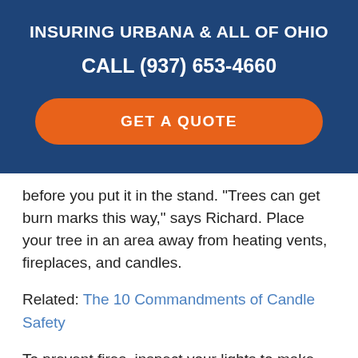INSURING URBANA & ALL OF OHIO
CALL (937) 653-4660
GET A QUOTE
before you put it in the stand. "Trees can get burn marks this way," says Richard. Place your tree in an area away from heating vents, fireplaces, and candles.
Related: The 10 Commandments of Candle Safety
To prevent fires, inspect your lights to make sure there are no frayed wires, weird kinks, or cracked